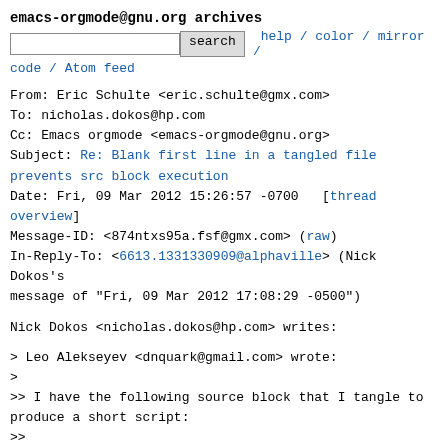emacs-orgmode@gnu.org archives
search  help / color / mirror / code / Atom feed
From: Eric Schulte <eric.schulte@gmx.com>
To: nicholas.dokos@hp.com
Cc: Emacs orgmode <emacs-orgmode@gnu.org>
Subject: Re: Blank first line in a tangled file prevents src block execution
Date: Fri, 09 Mar 2012 15:26:57 -0700   [thread overview]
Message-ID: <874ntxs95a.fsf@gmx.com> (raw)
In-Reply-To: <6613.1331330909@alphaville> (Nick Dokos's message of "Fri, 09 Mar 2012 17:08:29 -0500")
Nick Dokos <nicholas.dokos@hp.com> writes:
> Leo Alekseyev <dnquark@gmail.com> wrote:
>
>> I have the following source block that I tangle to produce a short script:
>>
>> #+begin_src sh :tangle code/get_wavs.sh
>>    #!/bin/bash
>>    for fn_in in "$@"; do
>>         fn_out=$(sed -e 's|\.3gp$||g' -e 's|$|.wav|g' <<< $fn_in)
>>         ffmpeg -i $fn_in -vn -f wav -acodec pcm_u8 $fn_out